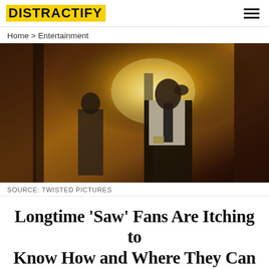DISTRACTIFY
Home > Entertainment
[Figure (photo): Two detectives in a dimly lit hallway; foreground figure in white shirt, tie, badge, and shoulder holster holds hand to face; background figure in dark clothing stands near a door with warm golden light]
SOURCE: TWISTED PICTURES
Longtime 'Saw' Fans Are Itching to Know How and Where They Can Watch 'Spiral'